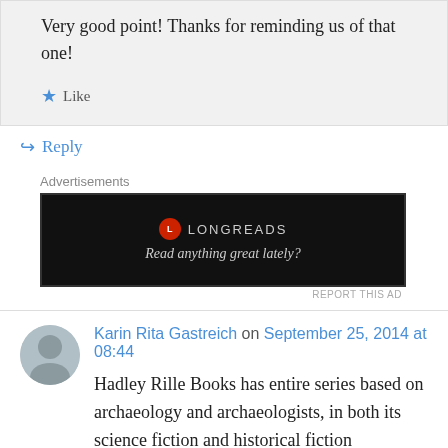Very good point! Thanks for reminding us of that one!
Like
Reply
Advertisements
[Figure (other): Longreads advertisement banner with black background, red circular logo, text LONGREADS and tagline 'Read anything great lately?']
REPORT THIS AD
Karin Rita Gastreich on September 25, 2014 at 08:44
Hadley Rille Books has entire series based on archaeology and archaeologists, in both its science fiction and historical fiction collections. This is a small press, so they don't get a very wide distribution, but their RUINS anthologies have a loyal following, including RUINS TERRA